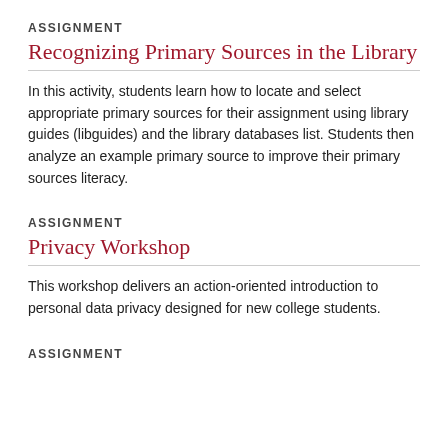ASSIGNMENT
Recognizing Primary Sources in the Library
In this activity, students learn how to locate and select appropriate primary sources for their assignment using library guides (libguides) and the library databases list. Students then analyze an example primary source to improve their primary sources literacy.
ASSIGNMENT
Privacy Workshop
This workshop delivers an action-oriented introduction to personal data privacy designed for new college students.
ASSIGNMENT